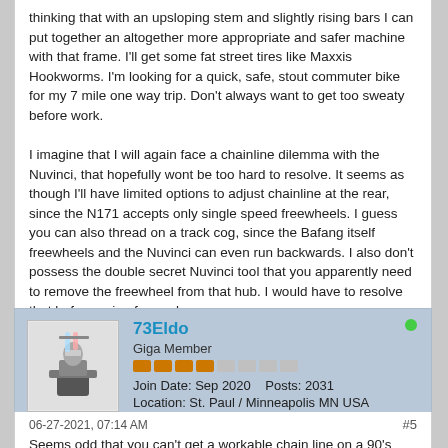thinking that with an upsloping stem and slightly rising bars I can put together an altogether more appropriate and safer machine with that frame. I'll get some fat street tires like Maxxis Hookworms. I'm looking for a quick, safe, stout commuter bike for my 7 mile one way trip. Don't always want to get too sweaty before work.

I imagine that I will again face a chainline dilemma with the Nuvinci, that hopefully wont be too hard to resolve. It seems as though I'll have limited options to adjust chainline at the rear, since the N171 accepts only single speed freewheels. I guess you can also thread on a track cog, since the Bafang itself freewheels and the Nuvinci can even run backwards. I also don't possess the double secret Nuvinci tool that you apparently need to remove the freewheel from that hub. I would have to resolve that before going forward.
73Eldo
Giga Member
Join Date: Sep 2020    Posts: 2031
Location: St. Paul / Minneapolis MN USA
06-27-2021, 07:14 AM
#5

Seems odd that you can't get a workable chain line on a 90's bike.